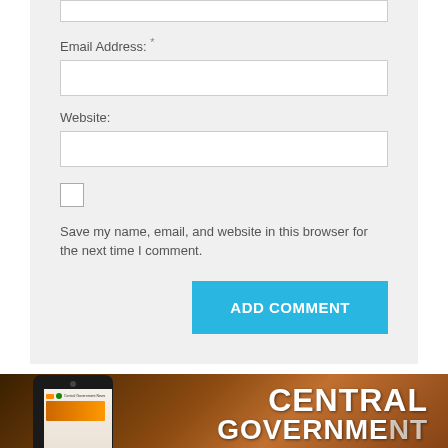Email Address: *
Website:
Save my name, email, and website in this browser for the next time I comment.
[Figure (screenshot): ADD COMMENT button in blue]
[Figure (illustration): Central Government banner with phone image showing Central Government News app, text reads CENTRAL GOVERNMENT]